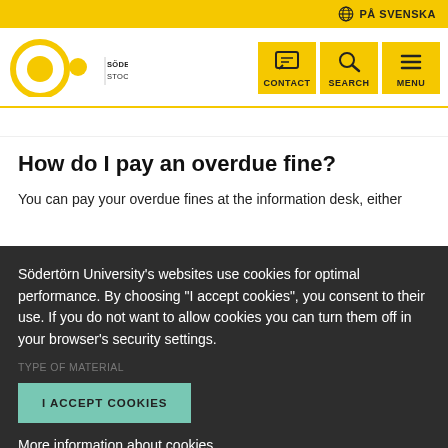PÅ SVENSKA
[Figure (logo): Södertörn University Stockholm logo with concentric circles]
How do I pay an overdue fine?
You can pay your overdue fines at the information desk, either
Södertörn University's websites use cookies for optimal performance. By choosing "I accept cookies", you consent to their use. If you do not want to allow cookies you can turn them off in your browser's security settings.
I ACCEPT COOKIES
More information about cookies